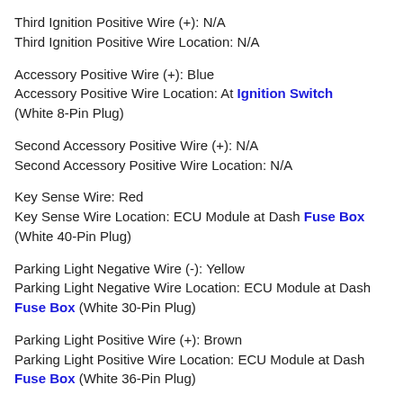Third Ignition Positive Wire (+): N/A
Third Ignition Positive Wire Location: N/A
Accessory Positive Wire (+): Blue
Accessory Positive Wire Location: At Ignition Switch (White 8-Pin Plug)
Second Accessory Positive Wire (+): N/A
Second Accessory Positive Wire Location: N/A
Key Sense Wire: Red
Key Sense Wire Location: ECU Module at Dash Fuse Box (White 40-Pin Plug)
Parking Light Negative Wire (-): Yellow
Parking Light Negative Wire Location: ECU Module at Dash Fuse Box (White 30-Pin Plug)
Parking Light Positive Wire (+): Brown
Parking Light Positive Wire Location: ECU Module at Dash Fuse Box (White 36-Pin Plug)
Power Door Lock Negative Wire (-): Light Green